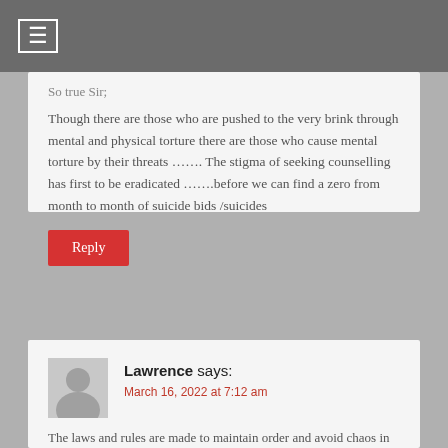≡
So true Sir;
Though there are those who are pushed to the very brink through mental and physical torture there are those who cause mental torture by their threats ……. The stigma of seeking counselling has first to be eradicated …….before we can find a zero from month to month of suicide bids /suicides
Reply
Lawrence says:
March 16, 2022 at 7:12 am
The laws and rules are made to maintain order and avoid chaos in society. When laws are used and